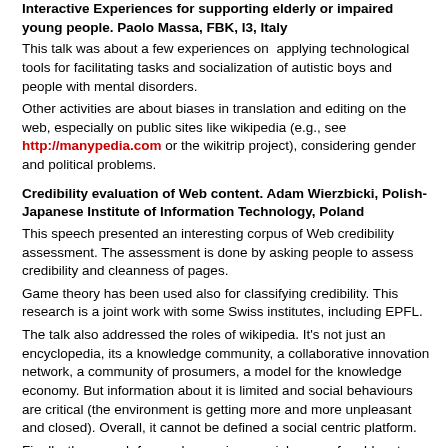Interactive Experiences for supporting elderly or impaired young people. Paolo Massa, FBK, I3, Italy
This talk was about a few experiences on applying technological tools for facilitating tasks and socialization of autistic boys and people with mental disorders.
Other activities are about biases in translation and editing on the web, especially on public sites like wikipedia (e.g., see http://manypedia.com or the wikitrip project), considering gender and political problems.
Credibility evaluation of Web content. Adam Wierzbicki, Polish-Japanese Institute of Information Technology, Poland
This speech presented an interesting corpus of Web credibility assessment. The assessment is done by asking people to assess credibility and cleanness of pages.
Game theory has been used also for classifying credibility. This research is a joint work with some Swiss institutes, including EPFL.
The talk also addressed the roles of wikipedia. It's not just an encyclopedia, its a knowledge community, a collaborative innovation network, a community of prosumers, a model for the knowledge economy. But information about it is limited and social behaviours are critical (the environment is getting more and more unpleasant and closed). Overall, it cannot be defined a social centric platform.
Finally, the speech focused on serious social games for elders to motivate social interaction. A good paradigm is gaming based on gossiping because it grants trust, social norms, and ties.
Other speeches I could not attend included: